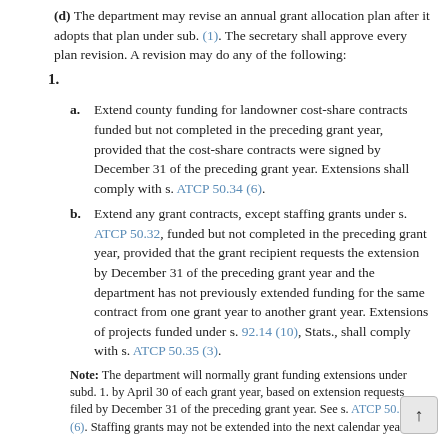(d) The department may revise an annual grant allocation plan after it adopts that plan under sub. (1). The secretary shall approve every plan revision. A revision may do any of the following:
1.
a. Extend county funding for landowner cost-share contracts funded but not completed in the preceding grant year, provided that the cost-share contracts were signed by December 31 of the preceding grant year. Extensions shall comply with s. ATCP 50.34 (6).
b. Extend any grant contracts, except staffing grants under s. ATCP 50.32, funded but not completed in the preceding grant year, provided that the grant recipient requests the extension by December 31 of the preceding grant year and the department has not previously extended funding for the same contract from one grant year to another grant year. Extensions of projects funded under s. 92.14 (10), Stats., shall comply with s. ATCP 50.35 (3).
Note: The department will normally grant funding extensions under subd. 1. by April 30 of each grant year, based on extension requests filed by December 31 of the preceding grant year. See s. ATCP 50.34 (6). Staffing grants may not be extended into the next calendar year.
2. Increase the total grant to any county. The department shall give all counties notice and equal opportunity to comp...